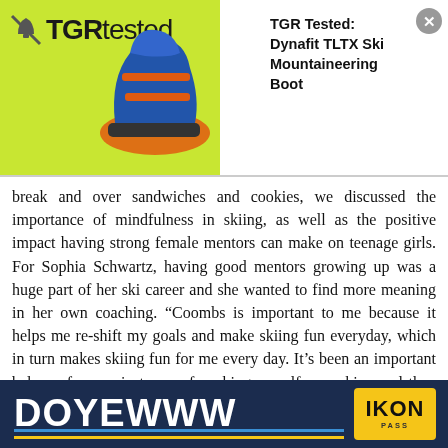[Figure (screenshot): TGR Tested banner ad showing a Dynafit TLTX ski mountaineering boot on a lime green background with TGR tested logo, and article title 'TGR Tested: Dynafit TLTX Ski Mountaineering Boot']
break and over sandwiches and cookies, we discussed the importance of mindfulness in skiing, as well as the positive impact having strong female mentors can make on teenage girls. For Sophia Schwartz, having good mentors growing up was a huge part of her ski career and she wanted to find more meaning in her own coaching. “Coombs is important to me because it helps me re-shift my goals and make skiing fun everyday, which in turn makes skiing fun for me every day. It’s been an important balance for me, in terms of pushing myself as a skier, and then once a week, coming and having
[Figure (screenshot): Bottom advertisement banner with dark navy background reading 'DOYEWWW' in large white bold text, with blue and yellow horizontal lines, and IKON PASS badge in yellow on the right]